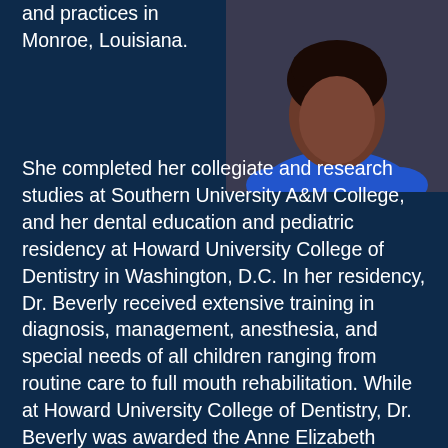[Figure (photo): Portrait photo of a woman wearing a blue top, shown from roughly shoulder height up, against a dark background.]
and practices in Monroe, Louisiana.

She completed her collegiate and research studies at Southern University A&M College, and her dental education and pediatric residency at Howard University College of Dentistry in Washington, D.C. In her residency, Dr. Beverly received extensive training in diagnosis, management, anesthesia, and special needs of all children ranging from routine care to full mouth rehabilitation. While at Howard University College of Dentistry, Dr. Beverly was awarded the Anne Elizabeth “Bessie” Delaney Scholarship. Also at Howard, she conducted research involving human oral cancer cells in which she was the recipient of many awards including first place at the Greater New